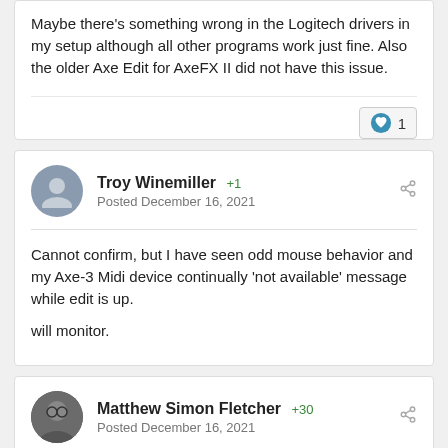Maybe there's something wrong in the Logitech drivers in my setup although all other programs work just fine. Also the older Axe Edit for AxeFX II did not have this issue.
Troy Winemiller  +1  Posted December 16, 2021
Cannot confirm, but I have seen odd mouse behavior and my Axe-3 Midi device continually 'not available' message while edit is up.

will monitor.
Matthew Simon Fletcher  +30  Posted December 16, 2021